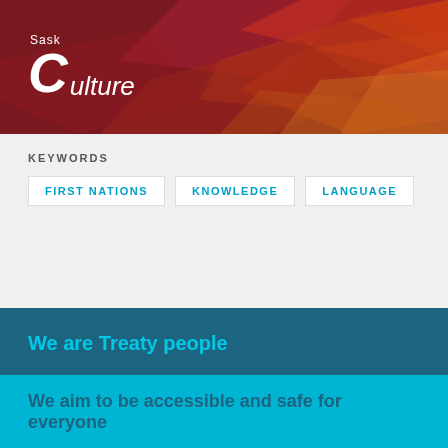SaskCulture
KEYWORDS
FIRST NATIONS
KNOWLEDGE
LANGUAGE
We are Treaty people
SaskCulture's work and support reaches lands covered by Treaties 2, 4, 5, 6, 8, and 10, the traditional lands of the Cree, Dakota, Dene, Lakota, Nakota and Saulteaux peoples, as well as homeland of the Métis.
We aim to be accessible and safe for everyone